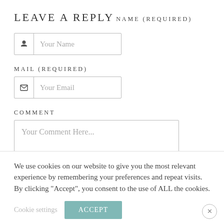LEAVE A REPLY
NAME (REQUIRED)
[Figure (screenshot): Text input field with person icon and placeholder text 'Your Name']
MAIL (REQUIRED)
[Figure (screenshot): Text input field with envelope/mail icon and placeholder text 'Your Email']
COMMENT
[Figure (screenshot): Textarea input field with placeholder text 'Your Comment Here...' and resize handle]
We use cookies on our website to give you the most relevant experience by remembering your preferences and repeat visits. By clicking "Accept", you consent to the use of ALL the cookies.
Cookie settings   ACCEPT